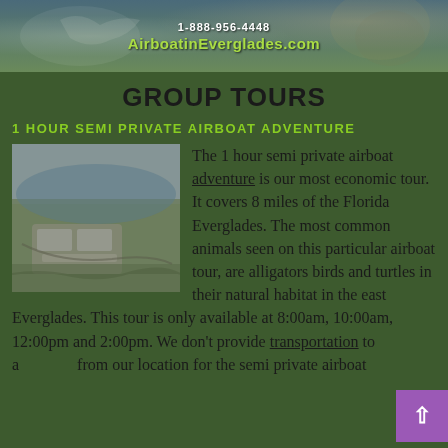[Figure (photo): Banner header image showing wildlife and nature scenes from the Everglades with AirboatinEverglades.com logo and phone number overlay]
GROUP TOURS
1 HOUR SEMI PRIVATE AIRBOAT ADVENTURE
[Figure (photo): Photo of an airboat on the Florida Everglades waterway with seating visible]
The 1 hour semi private airboat adventure is our most economic tour. It covers 8 miles of the Florida Everglades. The most common animals seen on this particular airboat tour, are alligators birds and turtles in their natural habitat in the east Everglades. This tour is only available at 8:00am, 10:00am, 12:00pm and 2:00pm. We don't provide transportation to and from our location for the semi private airboat